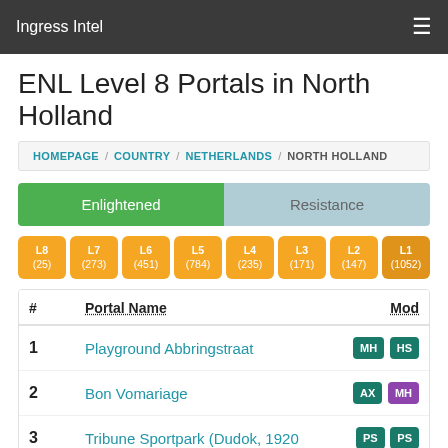Ingress Intel
ENL Level 8 Portals in North Holland
HOMEPAGE / COUNTRY / NETHERLANDS / NORTH HOLLAND
Enlightened | Resistance
L8 (25) | L7 (273) | L6 (451) | L5 (784) | L4 (235) | L3 (171) | L2 (147) | L1 (1052)
| # | Portal Name | Mod |
| --- | --- | --- |
| 1 | Playground Abbringstraat | MH HS |
| 2 | Bon Vomariage | AX MH |
| 3 | Tribune Sportpark (Dudok, 1920 | PS PS |